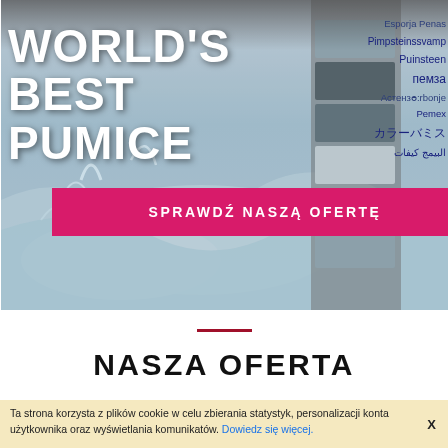[Figure (photo): Hero banner with water splash background and colorful pumice stones. White bold text reads WORLD'S BEST PUMICE. Right side has multilingual labels in dark blue. Pink/magenta call-to-action button reads SPRAWDŹ NASZĄ OFERTĘ.]
WORLD'S BEST PUMICE
Esporja Penas
Pimpsteinssvamp
Puinsteen
пемза
Астензө:rbonje
Pemex
カラーバミス
البيمج كيفات
SPRAWDŹ NASZĄ OFERTĘ
NASZA OFERTA
Ta strona korzysta z plików cookie w celu zbierania statystyk, personalizacji konta użytkownika oraz wyświetlania komunikatów. Dowiedz się więcej.